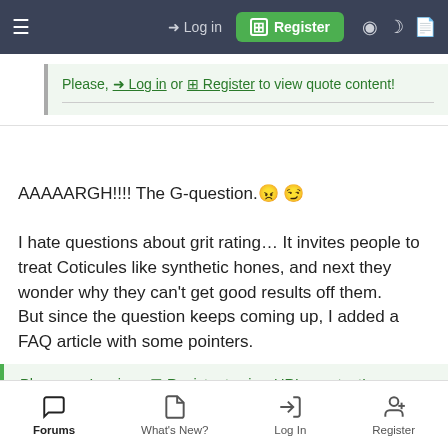Log in | Register
Please, Log in or Register to view quote content!
AAAAARGH!!!! The G-question. 😠 😉
I hate questions about grit rating… It invites people to treat Coticules like synthetic hones, and next they wonder why they can't get good results off them.
But since the question keeps coming up, I added a FAQ article with some pointers.
Please, Log in or Register to view URLs content!
Forums | What's New? | Log In | Register